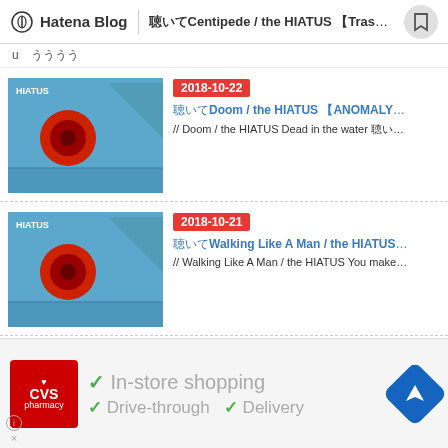Hatena Blog | 聴いてCentipede / the HIATUS 【Trash...
u　うううう
2018-10-22 | 聴いてDoom / the HIATUS 【ANOMALY】感想と歌詞 | // Doom / the HIATUS Dead in the water 聴いてみました...
2018-10-21 | 聴いてWalking Like A Man / the HIATUS 【ANOMALY】感想と歌詞 | // Walking Like A Man / the HIATUS You make it sound as if ...
2018-10-17 | 聴いてTalking Reptiles / the HIATUS 【ANOMALY】感想と歌詞 | // Talking Reptiles / the HIATUS I got to beat it into my h...
[Figure (infographic): CVS Pharmacy advertisement with checkmarks for In-store shopping, Drive-through, and Delivery, with navigation icon]